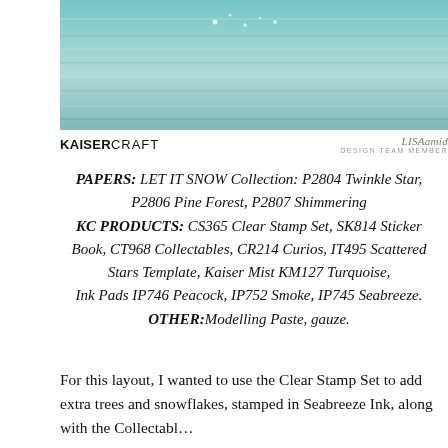[Figure (photo): Teal/turquoise weathered wooden planks background photo]
KAISERCRAFT   LISAamid DESIGN TEAM MEMBER
PAPERS: LET IT SNOW Collection: P2804 Twinkle Star, P2806 Pine Forest, P2807 Shimmering KC PRODUCTS: CS365 Clear Stamp Set, SK814 Sticker Book, CT968 Collectables, CR214 Curios, IT495 Scattered Stars Template, Kaiser Mist KM127 Turquoise, Ink Pads IP746 Peacock, IP752 Smoke, IP745 Seabreeze. OTHER: Modelling Paste, gauze.
For this layout, I wanted to use the Clear Stamp Set to add extra trees and snowflakes, stamped in Seabreeze Ink, along with the Collectables